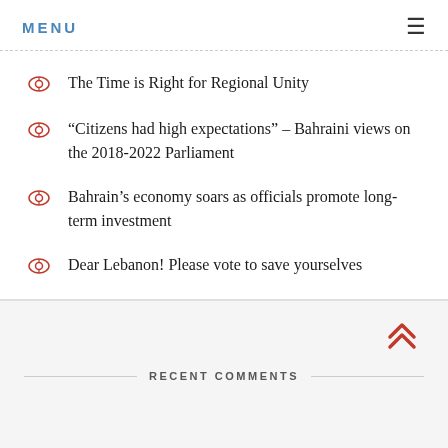MENU
The Time is Right for Regional Unity
“Citizens had high expectations” – Bahraini views on the 2018-2022 Parliament
Bahrain’s economy soars as officials promote long-term investment
Dear Lebanon! Please vote to save yourselves
RECENT COMMENTS